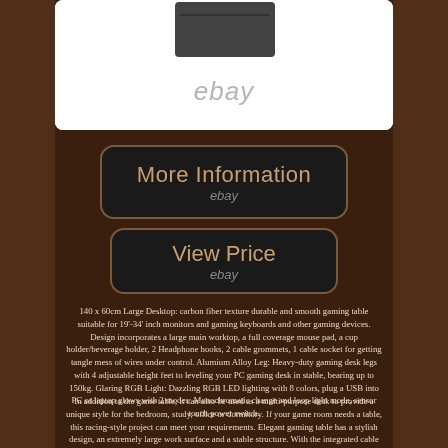[Figure (photo): Top portion of a gaming desk product photo on white background with ebay watermark]
[Figure (other): More Information button with ebay text, dark background with brown border]
[Figure (other): View Price button with ebay text, dark background with brown border]
140 x 60cm Large Desktop: carbon fiber texture durable and smooth gaming table suitable for 19'-34' inch monitors and gaming keyboards and other gaming devices. Design incorporates a large main worktop, a full coverage mouse pad, a cup holder/beverage holder, 2 Headphone hooks, 2 cable grommets, 1 cable socket for getting tangle mess of wires under control. Alumium Alloy Leg: Heavy-duty gaming desk legs with 4 adjustable height feet to leveling your PC gaming desk in stable, bearing up to 150kg. Glaring RGB Light: Dazzling RGB LED lighting with 8 colors, plug a USB into PC or laptop glows with 2 modes: Monochromatic change and loop light mode, sensor touch power switch.
In addition to the game table, it can also be used as a multi-purpose desk to provide a unique style for the bedroom, study, office or dormitory. If your game room needs a table, this racing-style project can meet your requirements. Elegant gaming table has a stylish design, an extremely large work surface and a stable structure. With the integrated cable